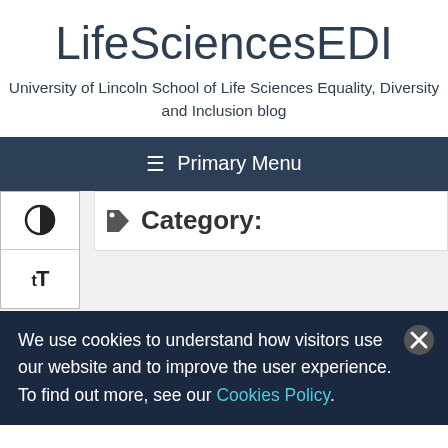LifeSciencesEDI
University of Lincoln School of Life Sciences Equality, Diversity and Inclusion blog
≡ Primary Menu
[Figure (screenshot): Accessibility toolbar with contrast toggle icon and text-size (tT) icon on the left side]
Category:
We use cookies to understand how visitors use our website and to improve the user experience. To find out more, see our Cookies Policy.